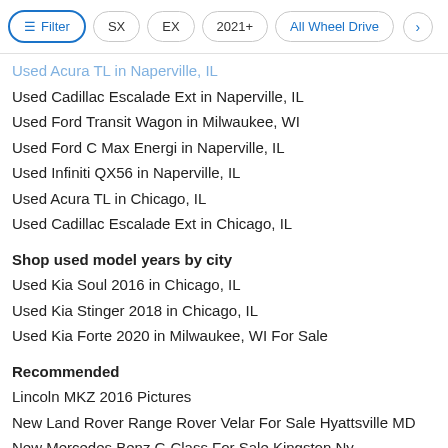Filter | SX | EX | 2021+ | All Wheel Drive
Used Acura TL in Naperville, IL
Used Cadillac Escalade Ext in Naperville, IL
Used Ford Transit Wagon in Milwaukee, WI
Used Ford C Max Energi in Naperville, IL
Used Infiniti QX56 in Naperville, IL
Used Acura TL in Chicago, IL
Used Cadillac Escalade Ext in Chicago, IL
Shop used model years by city
Used Kia Soul 2016 in Chicago, IL
Used Kia Stinger 2018 in Chicago, IL
Used Kia Forte 2020 in Milwaukee, WI For Sale
Recommended
Lincoln MKZ 2016 Pictures
New Land Rover Range Rover Velar For Sale Hyattsville MD
New Mercedes Benz G Class For Sale Kingston Ny
New Nissan Z For Sale Murfreesboro And TN